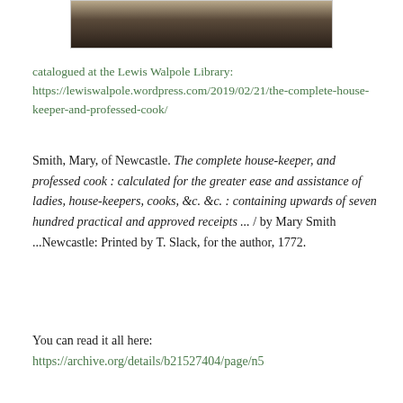[Figure (photo): Bottom portion of a book or wooden object with dark brown/black binding visible at the top of the page]
catalogued at the Lewis Walpole Library:
https://lewiswalpole.wordpress.com/2019/02/21/the-complete-house-keeper-and-professed-cook/
Smith, Mary, of Newcastle. The complete house-keeper, and professed cook : calculated for the greater ease and assistance of ladies, house-keepers, cooks, &c. &c. : containing upwards of seven hundred practical and approved receipts ... / by Mary Smith ...Newcastle: Printed by T. Slack, for the author, 1772.
You can read it all here:
https://archive.org/details/b21527404/page/n5